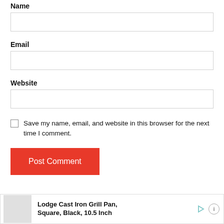Name
[Figure (screenshot): Empty text input field for Name]
Email
[Figure (screenshot): Empty text input field for Email]
Website
[Figure (screenshot): Empty text input field for Website]
Save my name, email, and website in this browser for the next time I comment.
Post Comment
[Figure (screenshot): Advertisement banner: Lodge Cast Iron Grill Pan, Square, Black, 10.5 Inch]